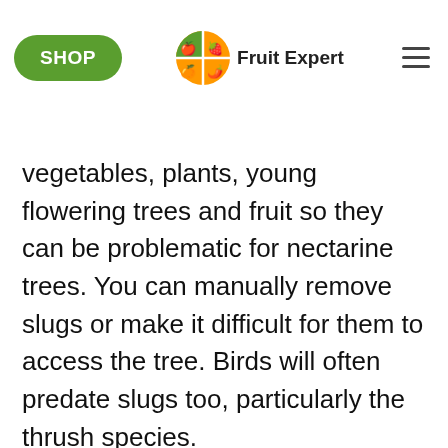SHOP | Fruit Expert
on garden pests, slugs are in ance in the UK. They feed on vegetables, plants, young flowering trees and fruit so they can be problematic for nectarine trees. You can manually remove slugs or make it difficult for them to access the tree. Birds will often predate slugs too, particularly the thrush species.
Pruning Dwarf Nectarine Trees
Any pruning on dwarf nectarine trees will be minimal as they generally do not need much attention. It will mainly be removing any weak